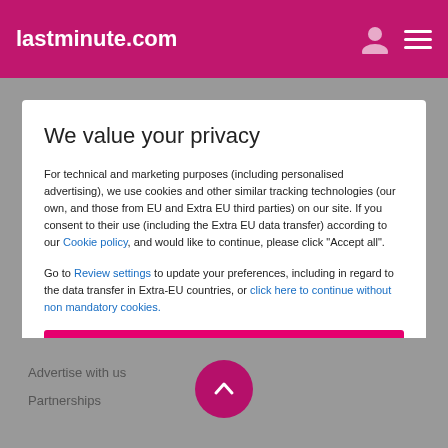lastminute.com
We value your privacy
For technical and marketing purposes (including personalised advertising), we use cookies and other similar tracking technologies (our own, and those from EU and Extra EU third parties) on our site. If you consent to their use (including the Extra EU data transfer) according to our Cookie policy, and would like to continue, please click "Accept all".
Go to Review settings to update your preferences, including in regard to the data transfer in Extra-EU countries, or click here to continue without non mandatory cookies.
ACCEPT ALL
Advertise with us
Partnerships